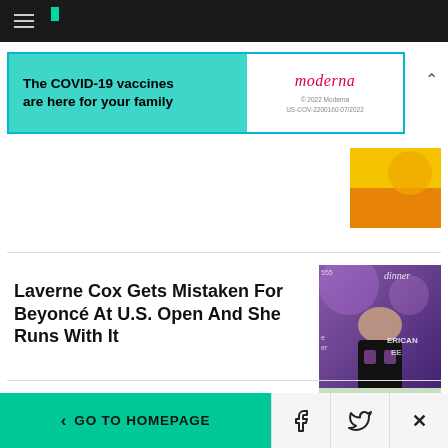HuffPost navigation bar with hamburger menu and logo
[Figure (screenshot): Advertisement banner: 'The COVID-19 vaccines are here for your family' with Moderna logo. © 2022 Moderna US-COV-2200160 07/2022]
[Figure (photo): Partial colorful image with yellow and orange tones, top right]
Laverne Cox Gets Mistaken For Beyoncé At U.S. Open And She Runs With It
[Figure (photo): Photo of Laverne Cox at an event, wearing black outfit, purple background, with partial text 'inner' and 'ERICAN']
Police — (partially visible, cut off)
[Figure (photo): Partial photo showing a Safeway store exterior]
< GO TO HOMEPAGE | Facebook share | Twitter share | Close